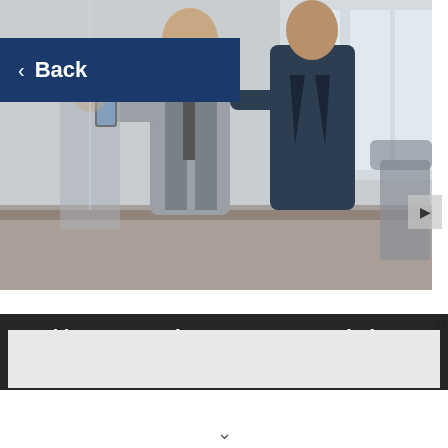[Figure (screenshot): Screenshot of a website/app showing a business article page. Contains a back button (dark blue, top-left), a photo of two businesspeople shaking hands/sharing a phone in an office, a dark overlay title bar, a navigation arrow, and a gray content card below.]
Looking For Business Recommendations? - Personalized Content You Can't Miss